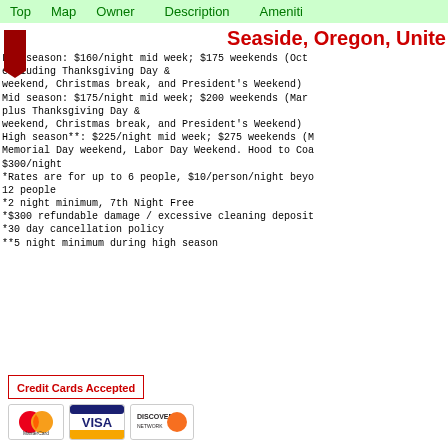Top  Map  Owner  Description  Ameniti
Seaside, Oregon, Unite
Low season: $160/night mid week; $175 weekends (Oct excluding Thanksgiving Day & weekend, Christmas break, and President's Weekend) Mid season: $175/night mid week; $200 weekends (Mar plus Thanksgiving Day & weekend, Christmas break, and President's Weekend) High season**: $225/night mid week; $275 weekends (M Memorial Day weekend, Labor Day Weekend. Hood to Coa $300/night *Rates are for up to 6 people, $10/person/night beyo 12 people *2 night minimum, 7th Night Free *$300 refundable damage / excessive cleaning deposit *30 day cancellation policy **5 night minimum during high season
[Figure (infographic): Credit card logos: MasterCard, VISA, Discover with 'Credit Cards Accepted' label]